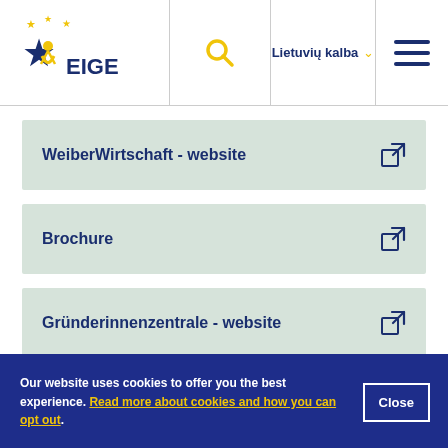[Figure (logo): EIGE European Institute for Gender Equality logo with star motif]
WeiberWirtschaft - website
Brochure
Gründerinnenzentrale - website
Our website uses cookies to offer you the best experience. Read more about cookies and how you can opt out.